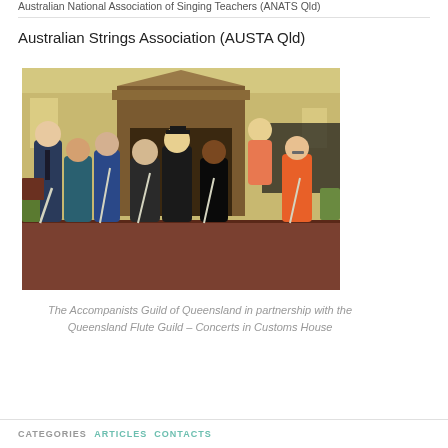Australian National Association of Singing Teachers (ANATS Qld)
Australian Strings Association (AUSTA Qld)
[Figure (photo): Group photo of approximately 8 musicians holding flutes, standing together in a formal room with a wooden mantelpiece and yellow walls.]
The Accompanists Guild of Queensland in partnership with the Queensland Flute Guild – Concerts in Customs House
CATEGORIES ARTICLES CONTACTS